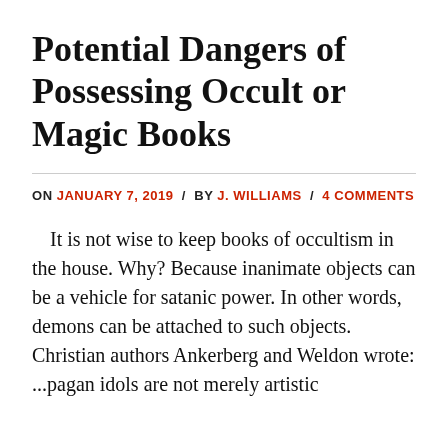Potential Dangers of Possessing Occult or Magic Books
ON JANUARY 7, 2019 / BY J. WILLIAMS / 4 COMMENTS
It is not wise to keep books of occultism in the house. Why? Because inanimate objects can be a vehicle for satanic power. In other words, demons can be attached to such objects. Christian authors Ankerberg and Weldon wrote: ...pagan idols are not merely artistic